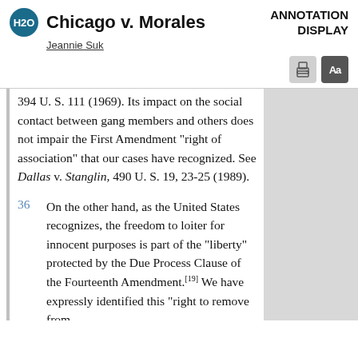Chicago v. Morales | Jeannie Suk | ANNOTATION DISPLAY
394 U. S. 111 (1969). Its impact on the social contact between gang members and others does not impair the First Amendment "right of association" that our cases have recognized. See Dallas v. Stanglin, 490 U. S. 19, 23-25 (1989).
36  On the other hand, as the United States recognizes, the freedom to loiter for innocent purposes is part of the "liberty" protected by the Due Process Clause of the Fourteenth Amendment.[19] We have expressly identified this "right to remove from